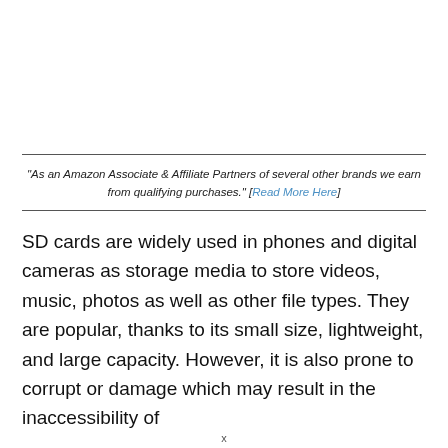"As an Amazon Associate & Affiliate Partners of several other brands we earn from qualifying purchases." [Read More Here]
SD cards are widely used in phones and digital cameras as storage media to store videos, music, photos as well as other file types. They are popular, thanks to its small size, lightweight, and large capacity. However, it is also prone to corrupt or damage which may result in the inaccessibility of
x